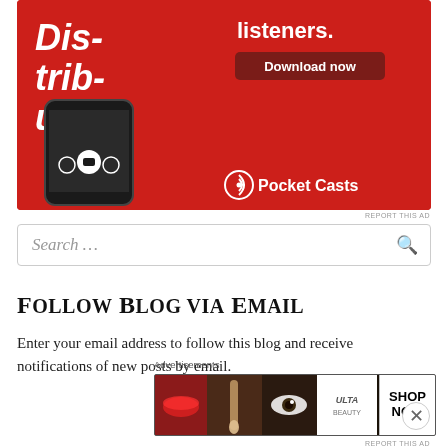[Figure (screenshot): Pocket Casts podcast app advertisement on red background showing a smartphone with the Dis-trib-uted podcast, 'listeners.' text, Download now button, and Pocket Casts logo]
REPORT THIS AD
Search …
Follow Blog via Email
Enter your email address to follow this blog and receive notifications of new posts by email.
Advertisements
[Figure (screenshot): Ulta Beauty advertisement banner showing makeup product images, Ulta logo, and SHOP NOW button]
REPORT THIS AD